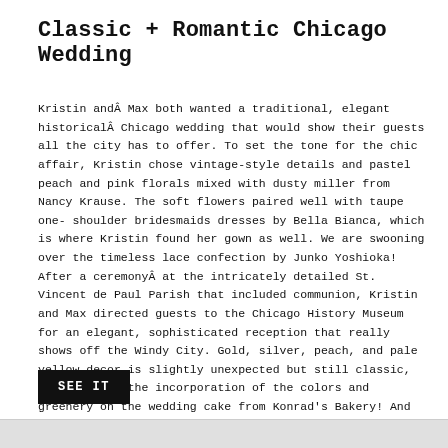Classic + Romantic Chicago Wedding
Kristin andÂ Max both wanted a traditional, elegant historicalÂ Chicago wedding that would show their guests all the city has to offer. To set the tone for the chic affair, Kristin chose vintage-style details and pastel peach and pink florals mixed with dusty miller from Nancy Krause. The soft flowers paired well with taupe one-shoulder bridesmaids dresses by Bella Bianca, which is where Kristin found her gown as well. We are swooning over the timeless lace confection by Junko Yoshioka! After a ceremonyÂ at the intricately detailed St. Vincent de Paul Parish that included communion, Kristin and Max directed guests to the Chicago History Museum for an elegant, sophisticated reception that really shows off the Windy City. Gold, silver, peach, and pale yellow decor is slightly unexpected but still classic, and we adore the incorporation of the colors and greenery on the wedding cake from Konrad’s Bakery! And because we love a bit of whimsy in every wedding, we can’t get over the Ferris wheel escort cardsâ€”adorable! These gorgeous images from Hunter Photographic capture the day perfectly!
SEE IT